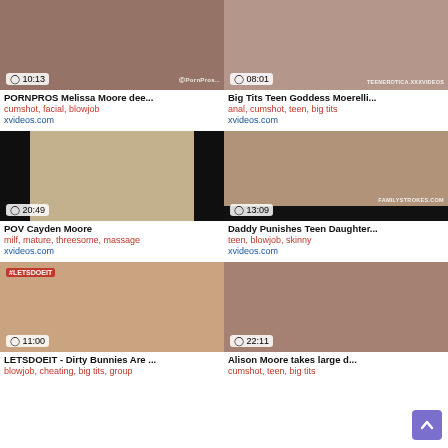[Figure (screenshot): Video thumbnail with duration 10:13, PornPros watermark]
PORNPROS Melissa Moore dee...
cumshot, facial, blowjob
xvideos.com
[Figure (screenshot): Video thumbnail with duration 08:01, TeenErotica watermark]
Big Tits Teen Goddess Moerelli...
anal, cumshot, teen, big tits
xvideos.com
[Figure (screenshot): Video thumbnail with duration 20:49]
POV Cayden Moore
milf, mature, threesome, massage
xvideos.com
[Figure (screenshot): Video thumbnail with duration 13:09, FamilyStrokes.com watermark]
Daddy Punishes Teen Daughter...
teen, blowjob, skinny
xvideos.com
[Figure (screenshot): Video thumbnail with duration 11:00, #LETSDOEIT tag]
LETSDOEIT - Dirty Bunnies Are ...
blowjob, cheating, big tits, group
[Figure (screenshot): Video thumbnail with duration 22:11]
Alison Moore takes large d...
cumshot, teen, big tits